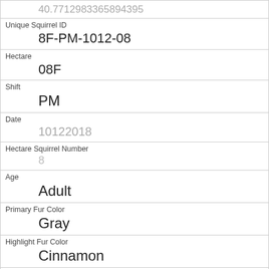| Field | Value |
| --- | --- |
|  | 40.7712983658894395 |
| Unique Squirrel ID | 8F-PM-1012-08 |
| Hectare | 08F |
| Shift | PM |
| Date | 10122018 |
| Hectare Squirrel Number | 8 |
| Age | Adult |
| Primary Fur Color | Gray |
| Highlight Fur Color | Cinnamon |
| Combination of Primary and Highlight Color | Gray+Cinnamon |
| Color notes |  |